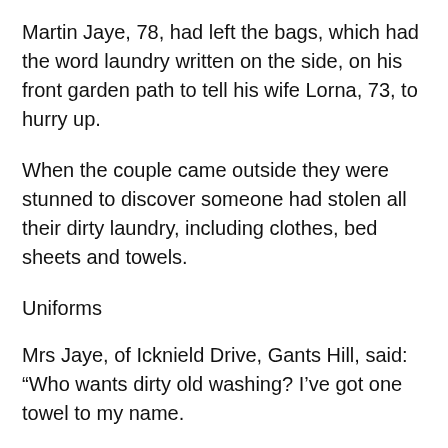Martin Jaye, 78, had left the bags, which had the word laundry written on the side, on his front garden path to tell his wife Lorna, 73, to hurry up.
When the couple came outside they were stunned to discover someone had stolen all their dirty laundry, including clothes, bed sheets and towels.
Uniforms
Mrs Jaye, of Icknield Drive, Gants Hill, said: “Who wants dirty old washing? I’ve got one towel to my name.
“I have to go and buy new stuff – I need dresses, I have nothing to wear.”
The couple have lived at their home for more than 50 years and said they had never heard of anything like they had experienced before.